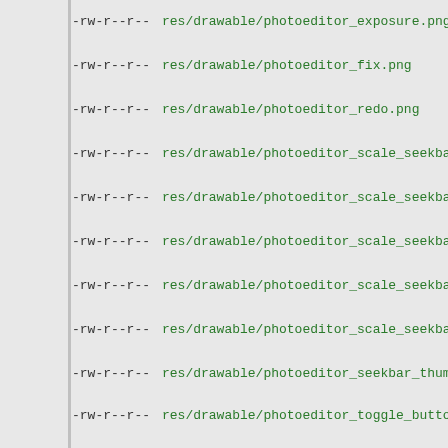-rw-r--r--   res/drawable/photoeditor_exposure.png
-rw-r--r--   res/drawable/photoeditor_fix.png
-rw-r--r--   res/drawable/photoeditor_redo.png
-rw-r--r--   res/drawable/photoeditor_scale_seekbar_color.9.png
-rw-r--r--   res/drawable/photoeditor_scale_seekbar_filllight.9.png
-rw-r--r--   res/drawable/photoeditor_scale_seekbar_generic.9.png
-rw-r--r--   res/drawable/photoeditor_scale_seekbar_highlight.9.png
-rw-r--r--   res/drawable/photoeditor_scale_seekbar_shadow.9.png
-rw-r--r--   res/drawable/photoeditor_seekbar_thumb.png
-rw-r--r--   res/drawable/photoeditor_toggle_button_background.xml